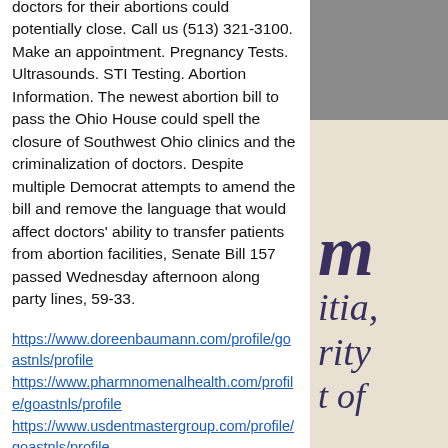doctors for their abortions could potentially close. Call us (513) 321-3100. Make an appointment. Pregnancy Tests. Ultrasounds. STI Testing. Abortion Information. The newest abortion bill to pass the Ohio House could spell the closure of Southwest Ohio clinics and the criminalization of doctors. Despite multiple Democrat attempts to amend the bill and remove the language that would affect doctors' ability to transfer patients from abortion facilities, Senate Bill 157 passed Wednesday afternoon along party lines, 59-33.
https://www.doreenbaumann.com/profile/goastnls/profile https://www.pharmnomenalhealth.com/profile/goastnls/profile https://www.usdentmastergroup.com/profile/goastnls/profile https://www.thespeechsoundclinic.com/profile/goastnls/profile
[Figure (photo): Partial image visible in top-right corner, dark textured background]
[Figure (other): Decorative text/typography in italic serif font on aged paper background, showing letters 'm', 'itia,', 'rity', 't of']